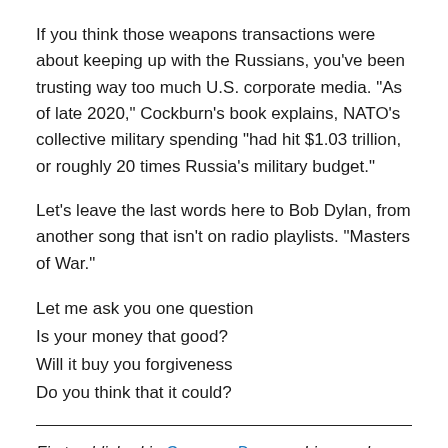If you think those weapons transactions were about keeping up with the Russians, you’ve been trusting way too much U.S. corporate media. “As of late 2020,” Cockburn’s book explains, NATO’s collective military spending “had hit $1.03 trillion, or roughly 20 times Russia’s military budget.”
Let’s leave the last words here to Bob Dylan, from another song that isn’t on radio playlists. “Masters of War.”
Let me ask you one question
Is your money that good?
Will it buy you forgiveness
Do you think that it could?
First published in Common Dreams. Licensed under